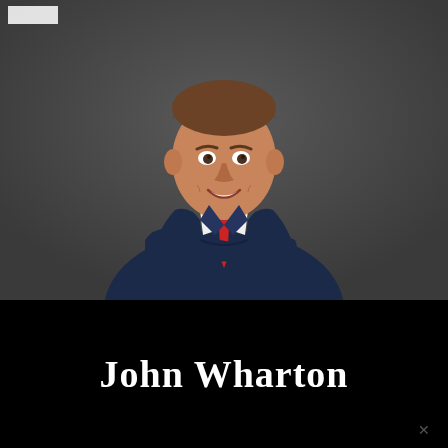[Figure (photo): Professional headshot of a smiling young man in a dark navy suit with a red tie, arms crossed, photographed against a dark gray background.]
John Wharton